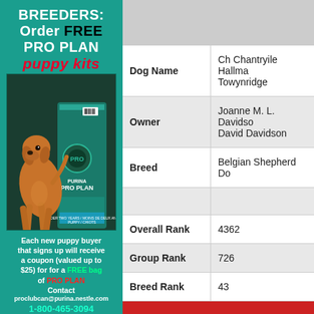[Figure (illustration): Purina Pro Plan advertisement for breeders. Teal/green background with text 'BREEDERS: Order FREE PRO PLAN puppy kits' and an image of a dog (Vizsla/brown dog) standing next to a Pro Plan puppy food bag. Below: promotional text about free bag coupon valued up to $25, contact email proclubcan@purina.nestle.com and phone 1-800-465-3094.]
| Field | Value |
| --- | --- |
| Dog Name | Ch Chantryile Hallmark of Towynridge |
| Owner | Joanne M. L. Davidson David Davidson |
| Breed | Belgian Shepherd Do... |
| Overall Rank | 4362 |
| Group Rank | 726 |
| Breed Rank | 43 |